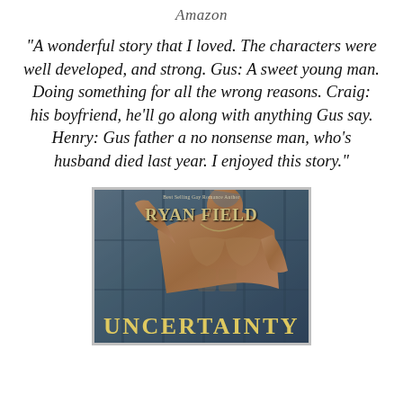Amazon
“A wonderful story that I loved. The characters were well developed, and strong. Gus: A sweet young man. Doing something for all the wrong reasons. Craig: his boyfriend, he’ll go along with anything Gus say. Henry: Gus father a no nonsense man, who’s husband died last year. I enjoyed this story.”
[Figure (photo): Book cover for 'Uncertainty' by Ryan Field. Shows a shirtless man against a blue wooden door background. Text reads 'Best Selling Gay Romance Author RYAN FIELD' at top and 'UNCERTAINTY' at bottom.]